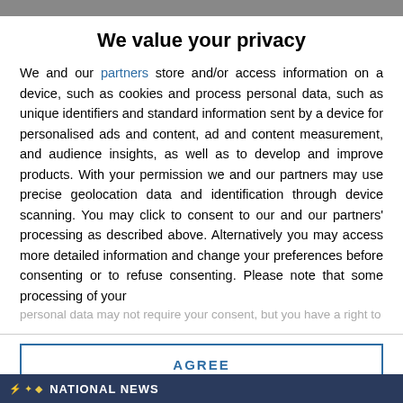We value your privacy
We and our partners store and/or access information on a device, such as cookies and process personal data, such as unique identifiers and standard information sent by a device for personalised ads and content, ad and content measurement, and audience insights, as well as to develop and improve products. With your permission we and our partners may use precise geolocation data and identification through device scanning. You may click to consent to our and our partners' processing as described above. Alternatively you may access more detailed information and change your preferences before consenting or to refuse consenting. Please note that some processing of your personal data may not require your consent, but you have a right to
AGREE
MORE OPTIONS
NATIONAL NEWS